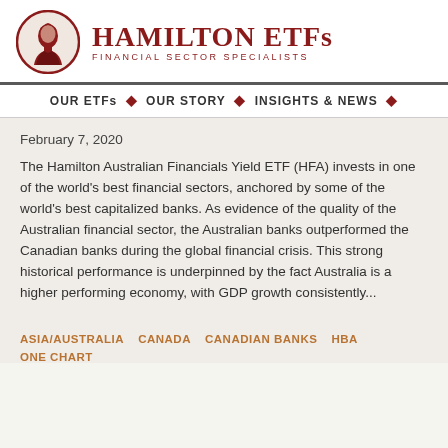[Figure (logo): Hamilton ETFs logo with portrait medallion and 'HAMILTON ETFs / FINANCIAL SECTOR SPECIALISTS' text]
OUR ETFs · OUR STORY · INSIGHTS & NEWS ·
February 7, 2020
The Hamilton Australian Financials Yield ETF (HFA) invests in one of the world's best financial sectors, anchored by some of the world's best capitalized banks. As evidence of the quality of the Australian financial sector, the Australian banks outperformed the Canadian banks during the global financial crisis. This strong historical performance is underpinned by the fact Australia is a higher performing economy, with GDP growth consistently...
ASIA/AUSTRALIA
CANADA
CANADIAN BANKS
HBA
ONE CHART